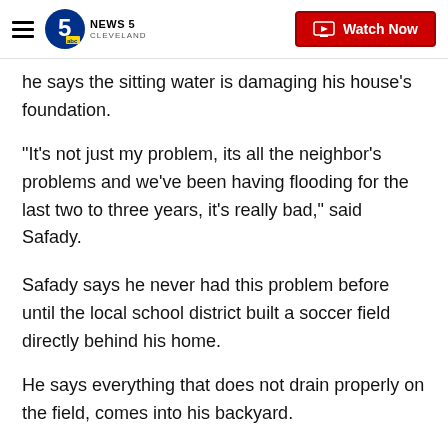NEWS 5 CLEVELAND | Watch Now
he says the sitting water is damaging his house's foundation.
"It’s not just my problem, its all the neighbor's problems and we’ve been having flooding for the last two to three years, it's really bad,” said Safady.
Safady says he never had this problem before until the local school district built a soccer field directly behind his home.
He says everything that does not drain properly on the field, comes into his backyard.